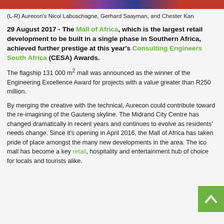[Figure (photo): Horizontal photo strip showing people at an event, partially visible at top of page]
(L-R) Aurecon's Nicol Labuschagne, Gerhard Saayman, and Chester Kan
29 August 2017 - The Mall of Africa, which is the largest retail development to be built in a single phase in Southern Africa, achieved further prestige at this year's Consulting Engineers South Africa (CESA) Awards.
The flagship 131 000 m² mall was announced as the winner of the Engineering Excellence Award for projects with a value greater than R250 million.
By merging the creative with the technical, Aurecon could contribute toward the re-imagining of the Gauteng skyline. The Midrand City Centre has changed dramatically in recent years and continues to evolve as residents' needs change. Since it's opening in April 2016, the Mall of Africa has taken pride of place amongst the many new developments in the area. The iconic mall has become a key retail, hospitality and entertainment hub of choice for locals and tourists alike.